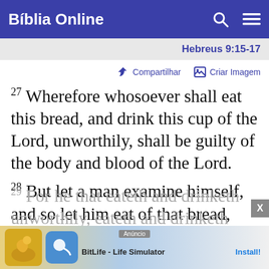Bíblia Online
Hebreus 9:15-17
Compartilhar   Criar Imagem
27 Wherefore whosoever shall eat this bread, and drink this cup of the Lord, unworthily, shall be guilty of the body and blood of the Lord.
28 But let a man examine himself, and so let him eat of that bread, and drink of that cup.
29 For he that eateth and drinketh unworthily, eateth and drinketh
[Figure (screenshot): BitLife - Life Simulator advertisement banner at the bottom of the screen]